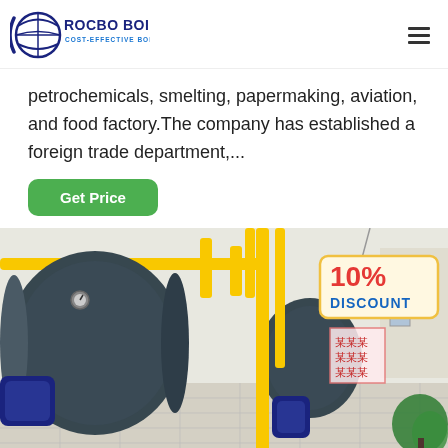ROCBO BOILER — COST-EFFECTIVE BOILER SUPPLIER
petrochemicals, smelting, papermaking, aviation, and food factory.The company has established a foreign trade department,...
Get Price
[Figure (photo): Industrial boiler facility interior showing large dark blue cylindrical boilers with yellow gas pipes and gauges. A '10% DISCOUNT' badge is overlaid in the top right corner of the image.]